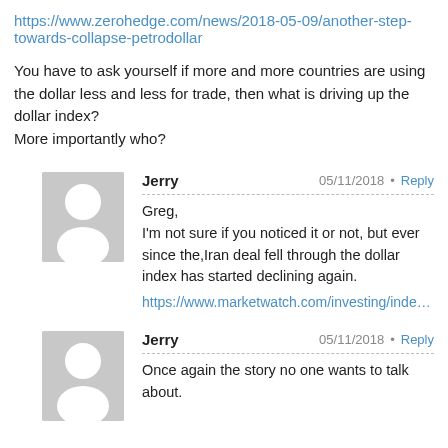https://www.zerohedge.com/news/2018-05-09/another-step-towards-collapse-petrodollar
You have to ask yourself if more and more countries are using the dollar less and less for trade, then what is driving up the dollar index?
More importantly who?
Jerry  05/11/2018 • Reply
Greg,
I'm not sure if you noticed it or not, but ever since the,Iran deal fell through the dollar index has started declining again.
https://www.marketwatch.com/investing/index/dxy/charts
Jerry  05/11/2018 • Reply
Once again the story no one wants to talk about.